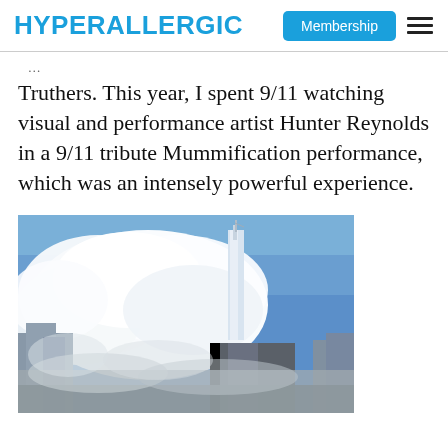HYPERALLERGIC | Membership
Truthers. This year, I spent 9/11 watching visual and performance artist Hunter Reynolds in a 9/11 tribute Mummification performance, which was an intensely powerful experience.
[Figure (photo): Photograph showing white smoke and clouds billowing near a tall tower/building structure against a blue sky, with buildings visible in the foreground and background.]